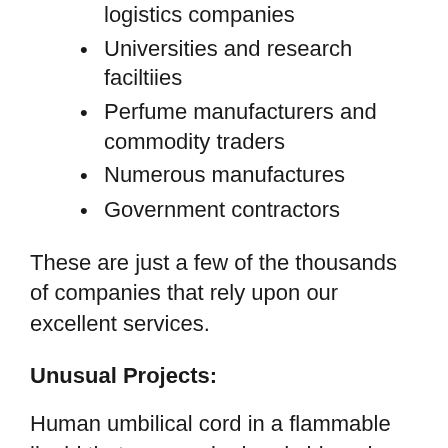logistics companies
Universities and research faciltiies
Perfume manufacturers and commodity traders
Numerous manufactures
Government contractors
These are just a few of the thousands of companies that rely upon our excellent services.
Unusual Projects:
Human umbilical cord in a flammable liquid that was packed and shipped overnight cross-country for an